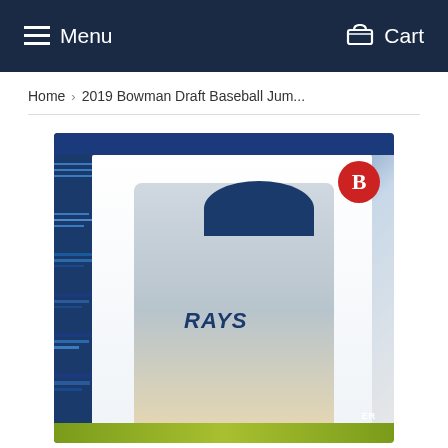Menu   Cart
Home > 2019 Bowman Draft Baseball Jum...
[Figure (photo): 2019 Bowman Draft Baseball card featuring a Tampa Bay Rays player in a fielding stance wearing a gray uniform, blue cap, and blue wristbands, with the Bowman 'B' logo in the upper right corner of the card.]